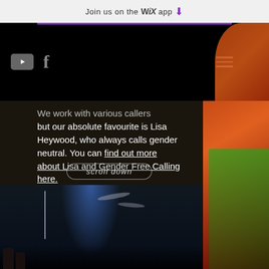Join us on the WiX app
[Figure (screenshot): Navigation bar with dark background, YouTube and Facebook icons on the left, hamburger menu icon on the right]
We work with various callers but our absolute favourite is Lisa Heywood, who always calls gender neutral. You can find out more about Lisa and Gender Free Calling here.
scroll down
[Figure (photo): Concert/stage scene with drum kit, microphone stands, and musicians on a darkly lit stage with blue and white lighting]